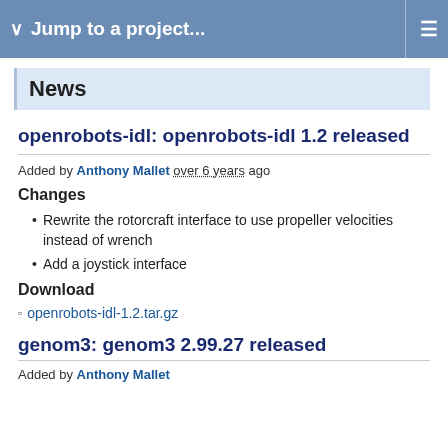Jump to a project...
News
openrobots-idl: openrobots-idl 1.2 released
Added by Anthony Mallet over 6 years ago
Changes
Rewrite the rotorcraft interface to use propeller velocities instead of wrench
Add a joystick interface
Download
openrobots-idl-1.2.tar.gz
genom3: genom3 2.99.27 released
Added by Anthony Mallet...